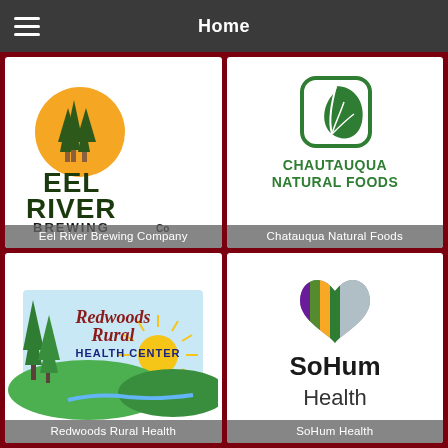Home
[Figure (logo): Eel River Brewing Company logo - orange circle with pine trees, green text EEL RIVER BREWING Co]
Eel River Brewing Company
[Figure (logo): Chautauqua Natural Foods logo - green rounded square with leaf, green text CHAUTAUQUA NATURAL FOODS]
Chatauqua Natural Foods
[Figure (logo): Redwoods Rural Health Center logo - redwood trees, sun rays, river landscape with text Redwoods Rural HEALTH CENTER]
Redwoods Rural Health
[Figure (logo): SoHum Health logo - colorful striped heart icon and bold text SoHum Health]
SoHum Health